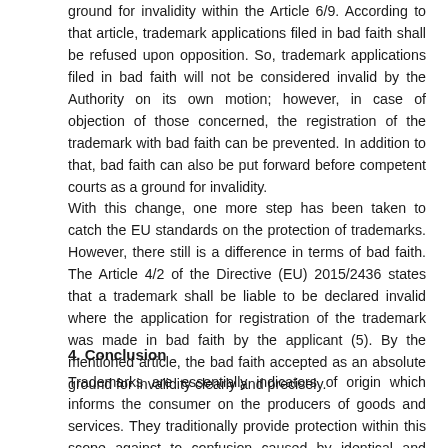ground for invalidity within the Article 6/9. According to that article, trademark applications filed in bad faith shall be refused upon opposition. So, trademark applications filed in bad faith will not be considered invalid by the Authority on its own motion; however, in case of objection of those concerned, the registration of the trademark with bad faith can be prevented. In addition to that, bad faith can also be put forward before competent courts as a ground for invalidity.
With this change, one more step has been taken to catch the EU standards on the protection of trademarks. However, there still is a difference in terms of bad faith. The Article 4/2 of the Directive (EU) 2015/2436 states that a trademark shall be liable to be declared invalid where the application for registration of the trademark was made in bad faith by the applicant (5). By the mentioned article, the bad faith accepted as an absolute ground for invalidity clearly and precisely.
4. Conclusion
Trademarks are essentially indicators of origin which informs the consumer on the producers of goods and services. They traditionally provide protection within this scope against to confusion caused by identical and similar signs, an identical